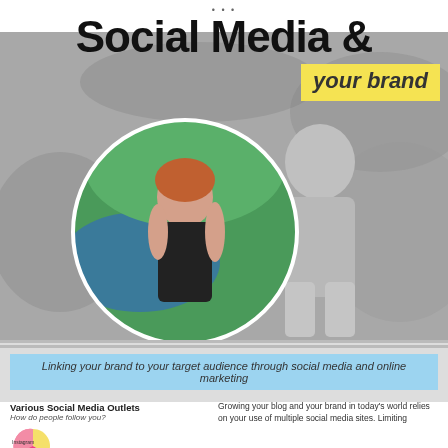Social Media &
your brand
[Figure (photo): Grayscale background photo of a man outdoors among tropical foliage, with a circular color inset photo of a woman in a black tank top (www.joanna-ross.co.uk) outdoors near water and green plants.]
Linking your brand to your target audience through social media and online marketing
[Figure (pie-chart): Pie chart with slices for Instagram (yellow/cream), Facebook (pink/hot pink), and other social media outlets. Labels: Instagram, Facebook.]
Various Social Media Outlets
How do people follow you?
Growing your blog and your brand in today's world relies on your use of multiple social media sites. Limiting